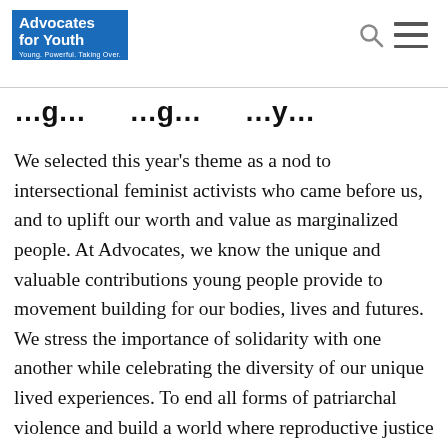Advocates for Youth — Young. Powerful. Taking Over.
…g…y…
We selected this year's theme as a nod to intersectional feminist activists who came before us, and to uplift our worth and value as marginalized people. At Advocates, we know the unique and valuable contributions young people provide to movement building for our bodies, lives and futures. We stress the importance of solidarity with one another while celebrating the diversity of our unique lived experiences. To end all forms of patriarchal violence and build a world where reproductive justice is achieved, we must act now to build the momentum to fight for a better world.